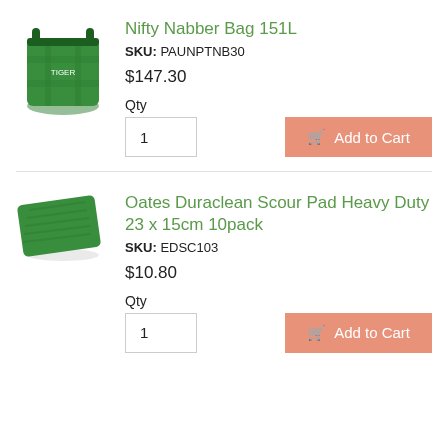[Figure (photo): Green pop-up garden waste bag with handle, cylindrical shape]
Nifty Nabber Bag 151L
SKU: PAUNPTNB30
$147.30
Qty
1
Add to Cart
[Figure (photo): Dark green rectangular scrubbing/scour pad]
Oates Duraclean Scour Pad Heavy Duty 23 x 15cm 10pack
SKU: EDSC103
$10.80
Qty
1
Add to Cart